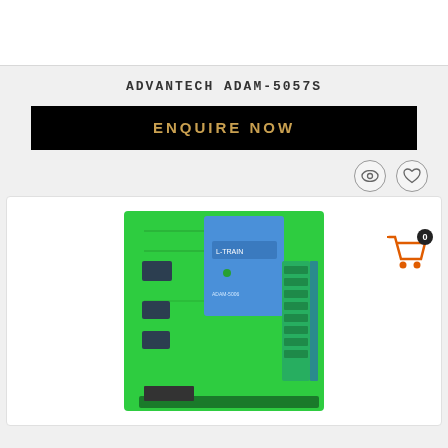ADVANTECH ADAM-5057S
ENQUIRE NOW
[Figure (photo): Photo of Advantech ADAM-5057S industrial I/O module showing green PCB with blue connector housing and green terminal blocks]
[Figure (other): Shopping cart icon with badge showing count 0]